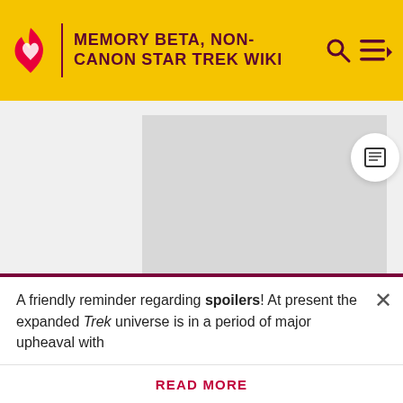MEMORY BETA, NON-CANON STAR TREK WIKI
[Figure (other): Advertisement placeholder - grey rectangle]
ADVERTISEMENT
A friendly reminder regarding spoilers! At present the expanded Trek universe is in a period of major upheaval with
READ MORE